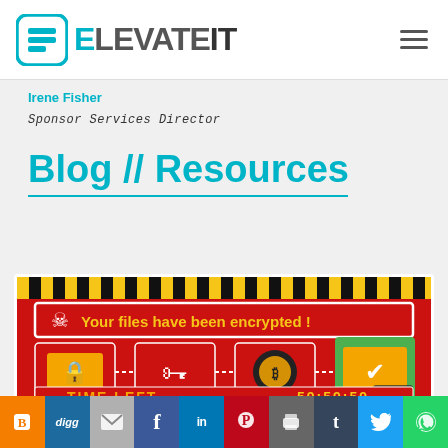ElevateIT — navigation header with logo and hamburger menu
Irene Fisher
Sponsor Services Director
Blog // Resources
[Figure (screenshot): Ransomware warning screen showing 'Your files have been encrypted!' with icons of a locked file, key, safe, and folder with checkmark, and a countdown timer showing TIME LEFT 59:59:59 on a red/yellow hazard-stripe background.]
Social sharing bar: Blogger, Digg, Email, Facebook, LinkedIn, Pinterest, Print, Tumblr, Twitter, WhatsApp